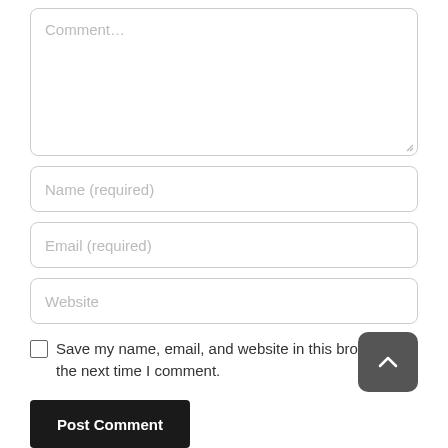[Figure (screenshot): Comment textarea input field with placeholder text 'Comment...' and resize handle at bottom-right]
[Figure (screenshot): Name (required) text input field]
[Figure (screenshot): Email (required) text input field]
[Figure (screenshot): Website text input field]
Save my name, email, and website in this browser for the next time I comment.
[Figure (screenshot): Scroll to top button with upward chevron arrow]
[Figure (screenshot): Post Comment button]